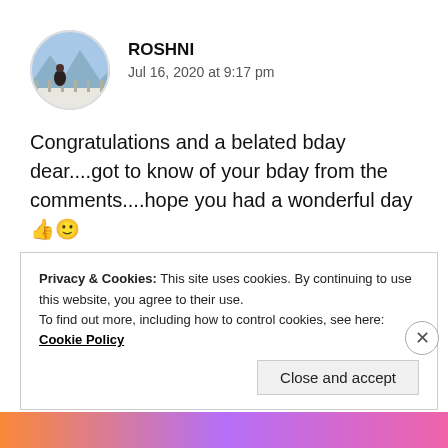[Figure (photo): Circular avatar photo of a person standing outdoors on a rooftop or terrace with mountains and blue sky in background]
ROSHNI
Jul 16, 2020 at 9:17 pm
Congratulations and a belated bday dear....got to know of your bday from the comments....hope you had a wonderful day 👍🙂
★ Liked by 1 person
Privacy & Cookies: This site uses cookies. By continuing to use this website, you agree to their use.
To find out more, including how to control cookies, see here: Cookie Policy
Close and accept